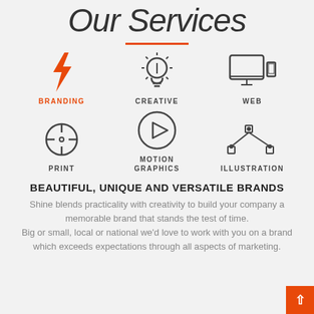Our Services
[Figure (infographic): Six service icons in a 3x2 grid: Branding (orange lightning bolt), Creative (light bulb), Web (monitor and mobile device), Print (crosshair target), Motion Graphics (play button circle), Illustration (bezier curve nodes)]
BEAUTIFUL, UNIQUE AND VERSATILE BRANDS
Shine blends practicality with creativity to build your company a memorable brand that stands the test of time. Big or small, local or national we'd love to work with you on a brand which exceeds expectations through all aspects of marketing.